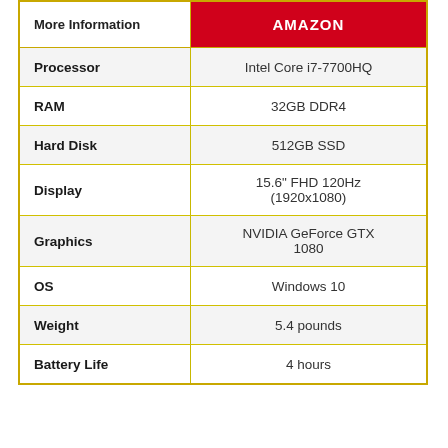| More Information | AMAZON |
| --- | --- |
| Processor | Intel Core i7-7700HQ |
| RAM | 32GB DDR4 |
| Hard Disk | 512GB SSD |
| Display | 15.6" FHD 120Hz (1920x1080) |
| Graphics | NVIDIA GeForce GTX 1080 |
| OS | Windows 10 |
| Weight | 5.4 pounds |
| Battery Life | 4 hours |